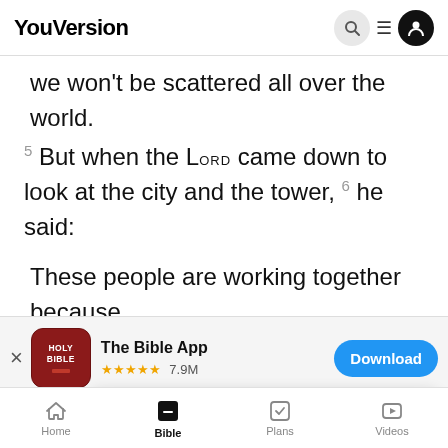YouVersion
we won't be scattered all over the world.
5 But when the LORD came down to look at the city and the tower, 6 he said:
These people are working together because
[Figure (screenshot): App store banner for The Bible App with HOLY BIBLE icon, 5 stars, 7.9M rating, and Download button]
anyth
confu
YouVersion uses cookies to personalize your experience. By using our website, you accept our use of cookies as described in our Privacy Policy.
Home  Bible  Plans  Videos